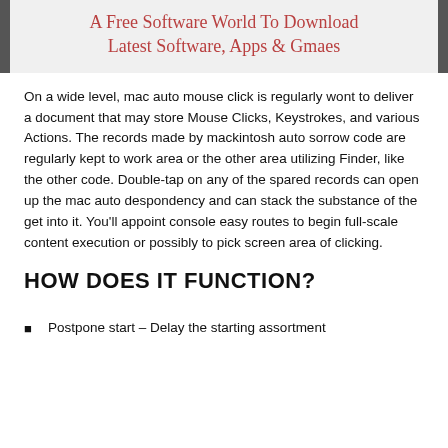A Free Software World To Download Latest Software, Apps & Gmaes
On a wide level, mac auto mouse click is regularly wont to deliver a document that may store Mouse Clicks, Keystrokes, and various Actions. The records made by mackintosh auto sorrow code are regularly kept to work area or the other area utilizing Finder, like the other code. Double-tap on any of the spared records can open up the mac auto despondency and can stack the substance of the get into it. You'll appoint console easy routes to begin full-scale content execution or possibly to pick screen area of clicking.
HOW DOES IT FUNCTION?
Postpone start – Delay the starting assortment